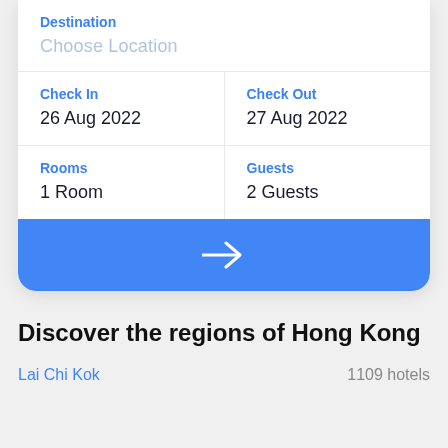Destination
Choose Location
Check In
26 Aug 2022
Check Out
27 Aug 2022
Rooms
1 Room
Guests
2 Guests
[Figure (other): Blue button with white right-arrow icon]
Discover the regions of Hong Kong
Lai Chi Kok
1109 hotels